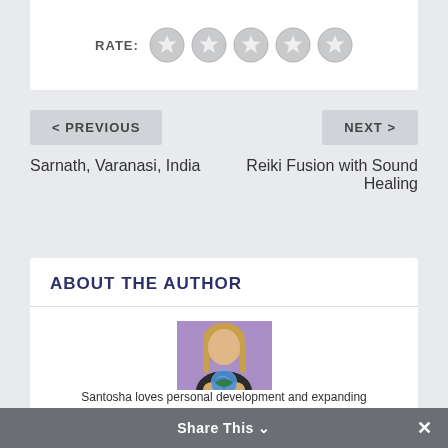[Figure (other): Star rating widget with label RATE: followed by 5 grey star icons]
< PREVIOUS
NEXT >
Sarnath, Varanasi, India
Reiki Fusion with Sound Healing
ABOUT THE AUTHOR
[Figure (photo): Woman holding a globe/Earth in her hands, purple background]
Santosha
Share This ∨
Santosha loves personal development and expanding